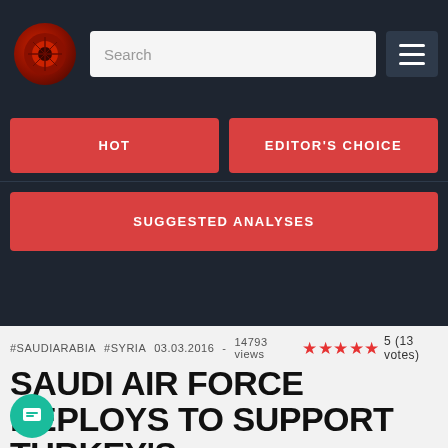Search
HOT
EDITOR'S CHOICE
SUGGESTED ANALYSES
#SAUDIARABIA   #SYRIA   03.03.2016 -   14793 views   5 (13 votes)
SAUDI AIR FORCE DEPLOYS TO SUPPORT TURKEY'S MILITARY INTERVENTION IN SYRIA